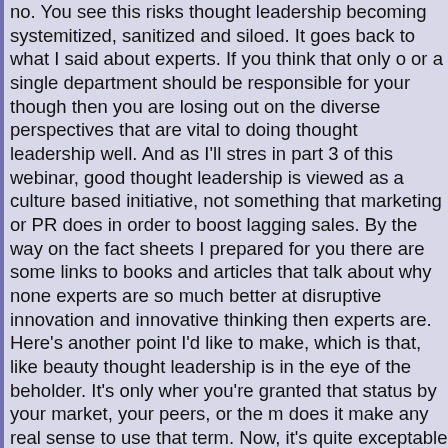no. You see this risks thought leadership becoming systemitized, sanitized and siloed. It goes back to what I said about experts. If you think that only one or a single department should be responsible for your thought leadership, then you are losing out on the diverse perspectives that are vital to doing thought leadership well. And as I'll stress in part 3 of this webinar, good thought leadership is viewed as a culture based initiative, not something that marketing or PR does in order to boost lagging sales. By the way on the fact sheets I prepared for you there are some links to books and articles that talk about why none experts are so much better at disruptive innovation and innovative thinking then experts are. Here's another point I'd like to make, which is that, like beauty, thought leadership is in the eye of the beholder. It's only when you're granted that status by your market, your peers, or the media does it make any real sense to use that term. Now, it's quite exceptable to call ourselves experts as thought leaders if qualifications, experience or positions likely support that, but I think it's pretentious for anyone to go around calling themselves a thought leader. Leave other people to say that about you.